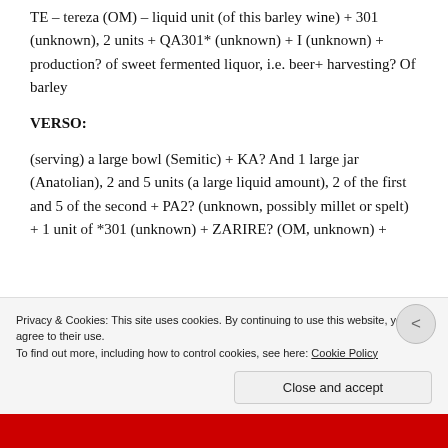TE – tereza (OM) – liquid unit (of this barley wine) + 301 (unknown), 2 units + QA301* (unknown) + I (unknown) + production? of sweet fermented liquor, i.e. beer+ harvesting? Of barley
VERSO:
(serving) a large bowl (Semitic) + KA? And 1 large jar (Anatolian), 2 and 5 units (a large liquid amount), 2 of the first and 5 of the second + PA2? (unknown, possibly millet or spelt) + 1 unit of *301 (unknown) + ZARIRE? (OM, unknown) +
Privacy & Cookies: This site uses cookies. By continuing to use this website, you agree to their use.
To find out more, including how to control cookies, see here: Cookie Policy
Close and accept